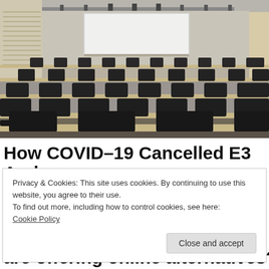[Figure (photo): Empty lecture hall with rows of black chairs at light-colored desks, a large white projection screen at the front, ceiling-mounted lights and projectors, and wood-paneled walls. The hall appears vacant.]
How COVID-19 Cancelled E3 And
Privacy & Cookies: This site uses cookies. By continuing to use this website, you agree to their use.
To find out more, including how to control cookies, see here:
Cookie Policy

Close and accept
are offering online alternatives? I'll let you